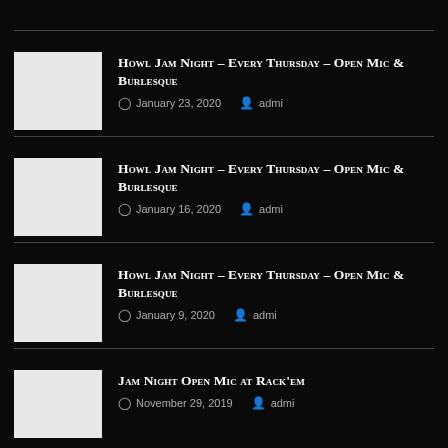HOWL JAM NIGHT – Every Thursday – Open Mic & Burlesque
January 23, 2020  admi
HOWL JAM NIGHT – Every Thursday – Open Mic & Burlesque
January 16, 2020  admi
HOWL JAM NIGHT – Every Thursday – Open Mic & Burlesque
January 9, 2020  admi
Jam Night Open Mic at Rack'em
November 29, 2019  admi